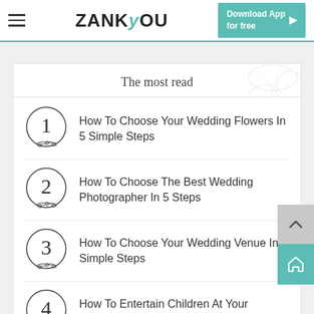ZANKYOU — Download App for free
The most read
1. How To Choose Your Wedding Flowers In 5 Simple Steps
2. How To Choose The Best Wedding Photographer In 5 Steps
3. How To Choose Your Wedding Venue In 5 Simple Steps
4. How To Entertain Children At Your Wedding in 5 Simple Steps
5. How To Calculate Your Wedding Budget In 5...